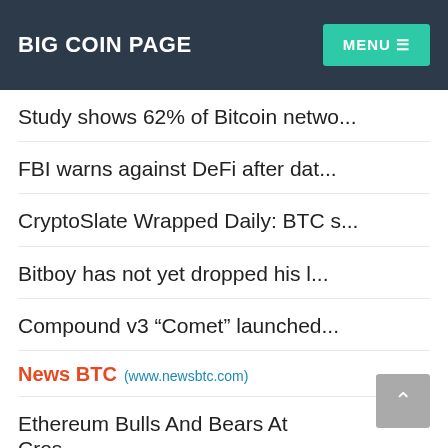BIG COIN PAGE  MENU ≡
Study shows 62% of Bitcoin netwo...
FBI warns against DeFi after dat...
CryptoSlate Wrapped Daily: BTC s...
Bitboy has not yet dropped his l...
Compound v3 “Comet” launched...
News BTC (www.newsbtc.com)
Ethereum Bulls And Bears At Cros...
Ethereum Trading Volume At Its M...